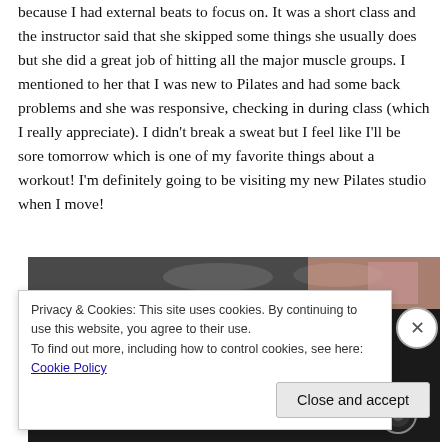because I had external beats to focus on. It was a short class and the instructor said that she skipped some things she usually does but she did a great job of hitting all the major muscle groups. I mentioned to her that I was new to Pilates and had some back problems and she was responsive, checking in during class (which I really appreciate). I didn't break a sweat but I feel like I'll be sore tomorrow which is one of my favorite things about a workout! I'm definitely going to be visiting my new Pilates studio when I move!
[Figure (photo): A photo strip showing a Pilates studio interior, partially obscured by a cookie consent banner overlay.]
Privacy & Cookies: This site uses cookies. By continuing to use this website, you agree to their use.
To find out more, including how to control cookies, see here: Cookie Policy
Close and accept
in less than a week